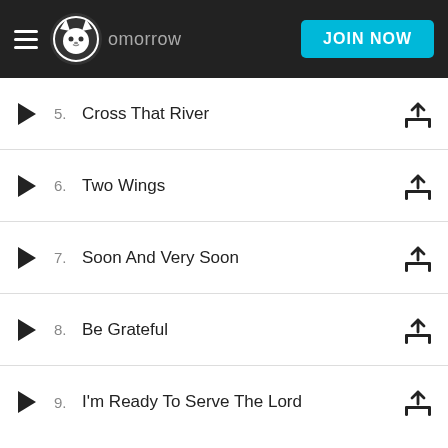Napster — Tomorrow — JOIN NOW
5. Cross That River
6. Two Wings
7. Soon And Very Soon
8. Be Grateful
9. I'm Ready To Serve The Lord